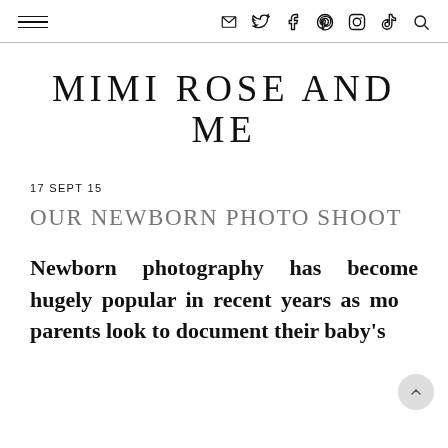MIMI ROSE AND ME — navigation header with hamburger menu and social icons
MIMI ROSE AND ME
17 SEPT 15
OUR NEWBORN PHOTO SHOOT
Newborn photography has become hugely popular in recent years as mo parents look to document their baby's